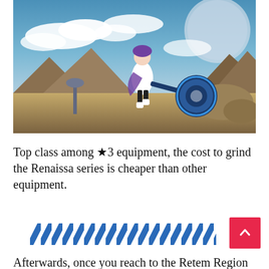[Figure (photo): Screenshot from a video game showing a female character in white and purple outfit wielding a large blue circular weapon, floating in the air above a rocky desert landscape with a large moon in the background.]
Top class among ★3 equipment, the cost to grind the Renaissa series is cheaper than other equipment.
[Figure (other): Decorative diagonal blue and white stripe divider pattern with a red back-to-top arrow button on the right side.]
Afterwards, once you reach to the Retem Region